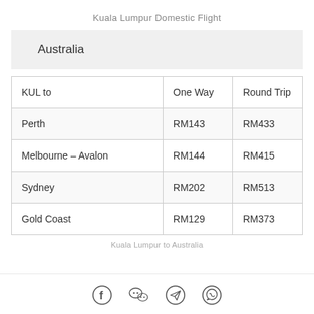Kuala Lumpur Domestic Flight
Australia
| KUL to | One Way | Round Trip |
| --- | --- | --- |
| Perth | RM143 | RM433 |
| Melbourne – Avalon | RM144 | RM415 |
| Sydney | RM202 | RM513 |
| Gold Coast | RM129 | RM373 |
Social sharing icons: Facebook, WeChat, Telegram, WhatsApp